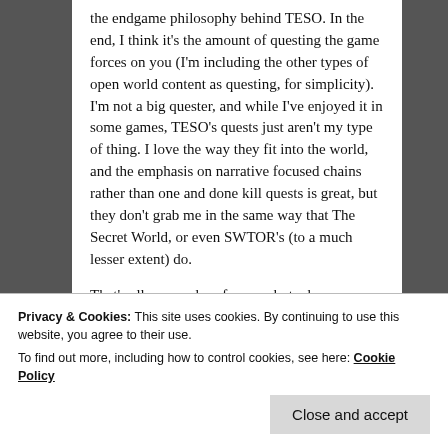the endgame philosophy behind TESO. In the end, I think it's the amount of questing the game forces on you (I'm including the other types of open world content as questing, for simplicity). I'm not a big quester, and while I've enjoyed it in some games, TESO's quests just aren't my type of thing. I love the way they fit into the world, and the emphasis on narrative focused chains rather than one and done kill quests is great, but they don't grab me in the same way that The Secret World, or even SWTOR's (to a much lesser extent) do.
That's all personal preference, but where
Privacy & Cookies: This site uses cookies. By continuing to use this website, you agree to their use.
To find out more, including how to control cookies, see here: Cookie Policy
the VR grind turned out to be. In practice